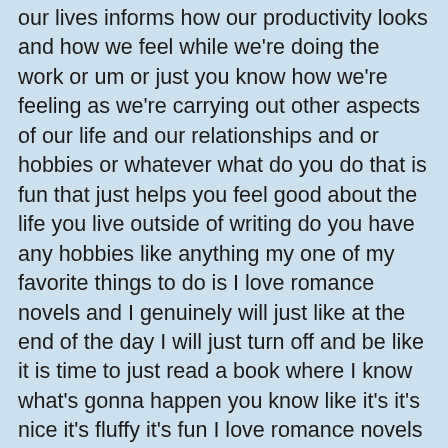our lives informs how our productivity looks and how we feel while we're doing the work or um or just you know how we're feeling as we're carrying out other aspects of our life and our relationships and or hobbies or whatever what do you do that is fun that just helps you feel good about the life you live outside of writing do you have any hobbies like anything my one of my favorite things to do is I love romance novels and I genuinely will just like at the end of the day I will just turn off and be like it is time to just read a book where I know what's gonna happen you know like it's it's nice it's fluffy it's fun I love romance novels I read so many each year so that's like a huge hobby of mine I do second-hand shop a lot I try to not buy new things it's like a huge thing that I try to do I try to not buy new clothes I should say um because I love shopping but it's